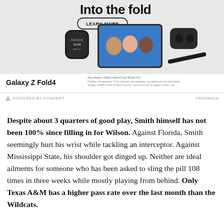[Figure (advertisement): Samsung Galaxy Z Fold4 advertisement showing a smartwatch, foldable phone with video call screen, wireless earbuds, and stylus pen. Text reads 'Into the fold' with a 'LEARN MORE' button. Bottom shows 'Galaxy Z Fold4' branding.]
POWERED BY CONCERT   FEEDBACK
Despite about 3 quarters of good play, Smith himself has not been 100% since filling in for Wilson. Against Florida, Smith seemingly hurt his wrist while tackling an interceptor. Against Mississippi State, his shoulder got dinged up. Neither are ideal ailments for someone who has been asked to sling the pill 108 times in three weeks while mostly playing from behind. Only Texas A&M has a higher pass rate over the last month than the Wildcats.